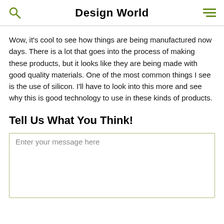Design World
Wow, it's cool to see how things are being manufactured now days. There is a lot that goes into the process of making these products, but it looks like they are being made with good quality materials. One of the most common things I see is the use of silicon. I'll have to look into this more and see why this is good technology to use in these kinds of products.
Tell Us What You Think!
Enter your message here